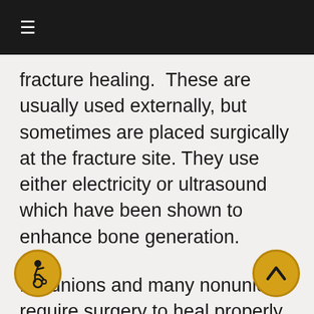≡
fracture healing.  These are usually used externally, but sometimes are placed surgically at the fracture site. They use either electricity or ultrasound which have been shown to enhance bone generation.
Malunions and many nonunions require surgery to heal properly. Direct access to the fracture is necessary to straighten the bone, in the case of a malunion, or to remove t tissues and stimulate blood flow at the site of a nonunion.  Bone grafts